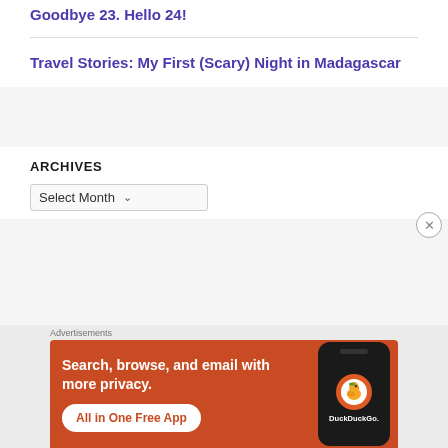Goodbye 23. Hello 24!
Travel Stories: My First (Scary) Night in Madagascar
ARCHIVES
Select Month
[Figure (screenshot): DuckDuckGo advertisement banner. Orange background with text: 'Search, browse, and email with more privacy. All in One Free App' and an image of a smartphone with the DuckDuckGo logo.]
Advertisements